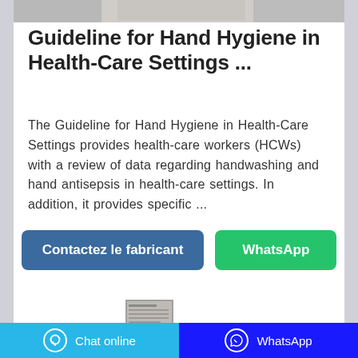[Figure (photo): Partial image strip at the top of the card, showing a person in a health-care related context (cropped).]
Guideline for Hand Hygiene in Health-Care Settings ...
The Guideline for Hand Hygiene in Health-Care Settings provides health-care workers (HCWs) with a review of data regarding handwashing and hand antisepsis in health-care settings. In addition, it provides specific ...
[Figure (screenshot): Small thumbnail image of a document page, partially visible.]
Chat online   WhatsApp